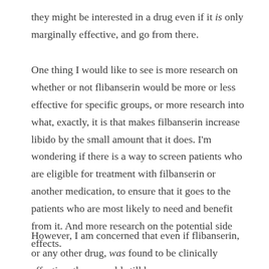they might be interested in a drug even if it is only marginally effective, and go from there.
One thing I would like to see is more research on whether or not flibanserin would be more or less effective for specific groups, or more research into what, exactly, it is that makes filbanserin increase libido by the small amount that it does. I'm wondering if there is a way to screen patients who are eligible for treatment with filbanserin or another medication, to ensure that it goes to the patients who are most likely to need and benefit from it. And more research on the potential side effects.
However, I am concerned that even if flibanserin, or any other drug, was found to be clinically effective, there would still be some concerns on the part of